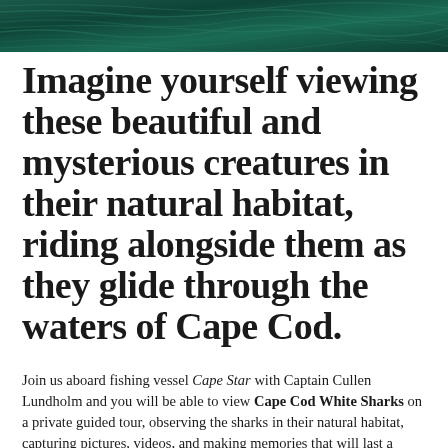[Figure (photo): Dark green/teal water surface texture banner at the top of the page]
Imagine yourself viewing these beautiful and mysterious creatures in their natural habitat, riding alongside them as they glide through the waters of Cape Cod.
Join us aboard fishing vessel Cape Star with Captain Cullen Lundholm and you will be able to view Cape Cod White Sharks on a private guided tour, observing the sharks in their natural habitat, capturing pictures, videos, and making memories that will last a lifetime.  Come join us for a Cape Cod White Shark viewing, i am sure you won't be